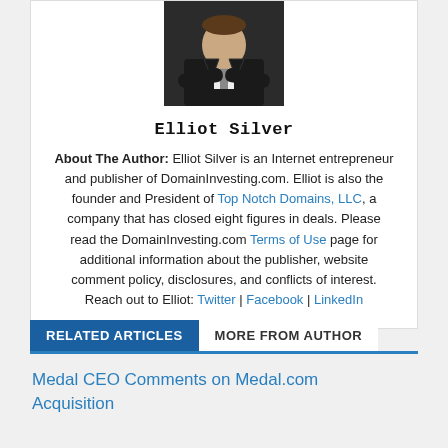[Figure (photo): Headshot photo of Elliot Silver, a man in a dark suit with arms crossed]
Elliot Silver
About The Author: Elliot Silver is an Internet entrepreneur and publisher of DomainInvesting.com. Elliot is also the founder and President of Top Notch Domains, LLC, a company that has closed eight figures in deals. Please read the DomainInvesting.com Terms of Use page for additional information about the publisher, website comment policy, disclosures, and conflicts of interest. Reach out to Elliot: Twitter | Facebook | LinkedIn
RELATED ARTICLES   MORE FROM AUTHOR
Medal CEO Comments on Medal.com Acquisition